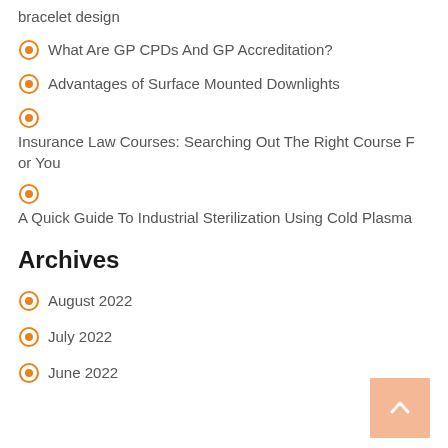bracelet design
What Are GP CPDs And GP Accreditation?
Advantages of Surface Mounted Downlights
Insurance Law Courses: Searching Out The Right Course For You
A Quick Guide To Industrial Sterilization Using Cold Plasma
Archives
August 2022
July 2022
June 2022